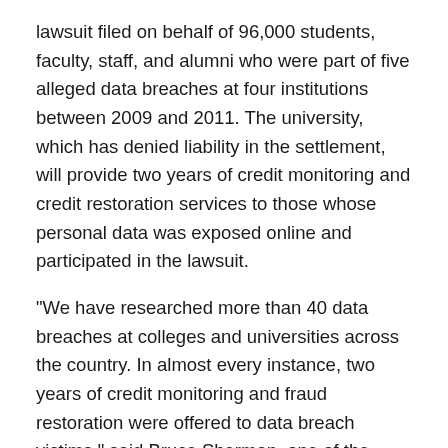lawsuit filed on behalf of 96,000 students, faculty, staff, and alumni who were part of five alleged data breaches at four institutions between 2009 and 2011. The university, which has denied liability in the settlement, will provide two years of credit monitoring and credit restoration services to those whose personal data was exposed online and participated in the lawsuit.
"We have researched more than 40 data breaches at colleges and universities across the country. In almost every instance, two years of credit monitoring and fraud restoration were offered to data breach victims," said Bruce Sherman, one of the attorneys representing the class involved in the lawsuit. "Offering two years of credit monitoring and fraud restoration services to breach victims should be the standard response by any breaching